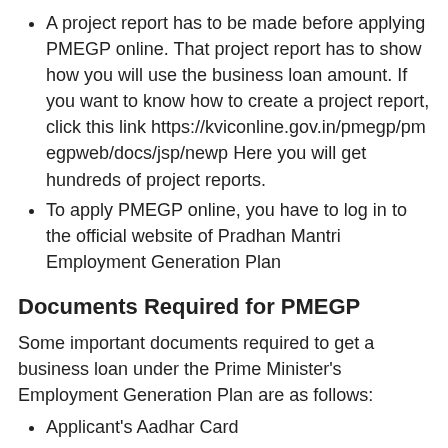A project report has to be made before applying PMEGP online. That project report has to show how you will use the business loan amount. If you want to know how to create a project report, click this link https://kviconline.gov.in/pmegp/pmegpweb/docs/jsp/newp Here you will get hundreds of project reports.
To apply PMEGP online, you have to log in to the official website of Pradhan Mantri Employment Generation Plan
Documents Required for PMEGP
Some important documents required to get a business loan under the Prime Minister's Employment Generation Plan are as follows:
Applicant's Aadhar Card
Pan Card